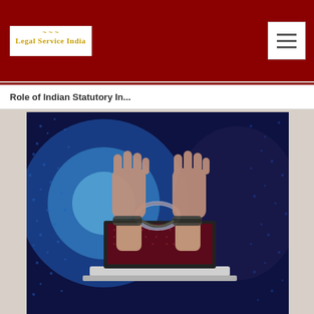Legal Service India E-Journal
Role of Indian Statutory In...
[Figure (photo): Two handcuffed wrists raised above a laptop computer, set against a digital binary code background with blue and dark patterns, symbolizing cybercrime or internet crime.]